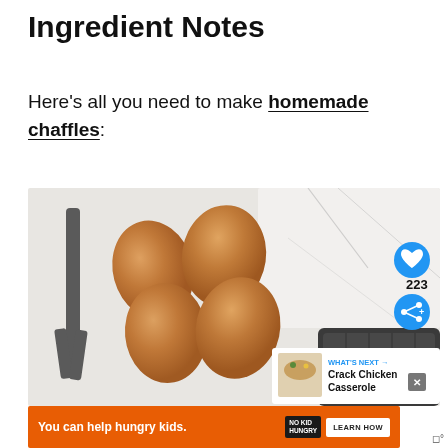Ingredient Notes
Here's all you need to make homemade chaffles:
[Figure (photo): Four brown eggs arranged in a cluster on a white surface, with kitchen tongs on the left and a waffle maker in the bottom right. Social media UI overlays including a heart/like button showing 223 likes, a share button, and a 'What's Next' card for Crack Chicken Casserole.]
You can help hungry kids. NO KID HUNGRY LEARN HOW